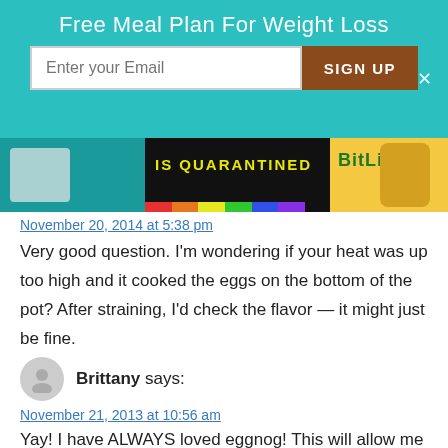[Figure (screenshot): Teal popup banner for 'Free Meal Plan For Weight Loss' with email input and Sign Up button]
[Figure (screenshot): Advertisement strip with 'IS QUARANTINED' text, rainbow bar, and BitLife logo]
November 20, 2014 at 5:38 pm
Very good question. I'm wondering if your heat was up too high and it cooked the eggs on the bottom of the pot? After straining, I'd check the flavor — it might just be fine.
Brittany says:
November 21, 2013 at 10:56 am
Yay! I have ALWAYS loved eggnog! This will allow me to do something not so high in lactose! Like Nia, will have to do some experimenting...